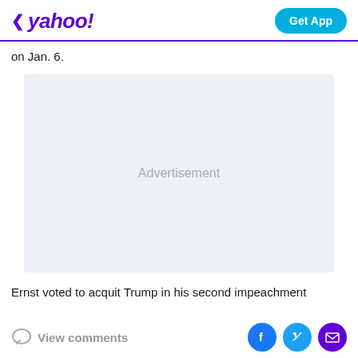yahoo! Get App
on Jan. 6.
[Figure (other): Advertisement placeholder box with light gray background and centered text 'Advertisement']
Ernst voted to acquit Trump in his second impeachment
View comments | Facebook share | Twitter share | Email share